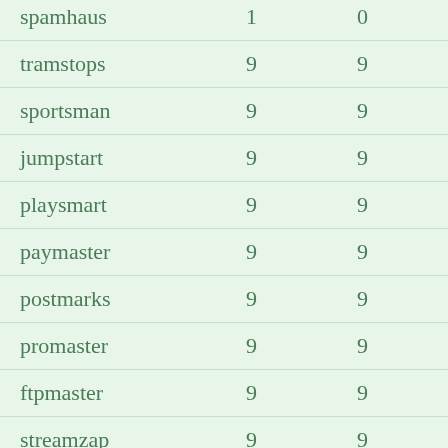| spamhaus | 1 | 0 |
| tramstops | 9 | 9 |
| sportsman | 9 | 9 |
| jumpstart | 9 | 9 |
| playsmart | 9 | 9 |
| paymaster | 9 | 9 |
| postmarks | 9 | 9 |
| promaster | 9 | 9 |
| ftpmaster | 9 | 9 |
| streamzap | 9 | 9 |